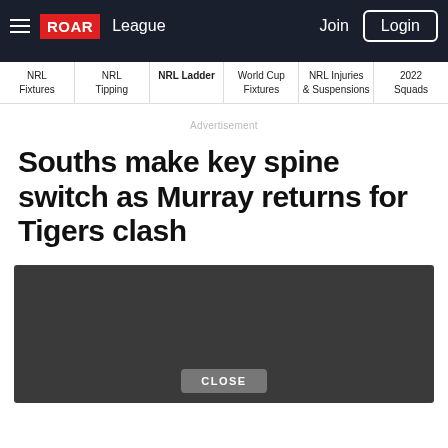ROAR | League | Join | Login
NRL Fixtures | NRL Tipping | NRL Ladder | World Cup Fixtures | NRL Injuries & Suspensions | 2022 Squads
Advertisement
Souths make key spine switch as Murray returns for Tigers clash
[Figure (photo): Dark placeholder image with a CLOSE button overlay at the bottom center]